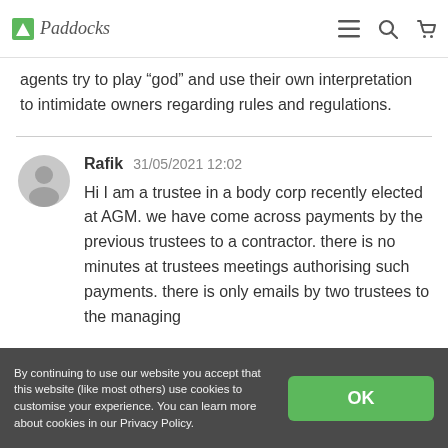Paddocks [logo] [hamburger menu] [search] [cart]
agents try to play “god” and use their own interpretation to intimidate owners regarding rules and regulations.
Rafik  31/05/2021 12:02
Hi I am a trustee in a body corp recently elected at AGM. we have come across payments by the previous trustees to a contractor. there is no minutes at trustees meetings authorising such payments. there is only emails by two trustees to the managing
By continuing to use our website you accept that this website (like most others) use cookies to customise your experience. You can learn more about cookies in our Privacy Policy.